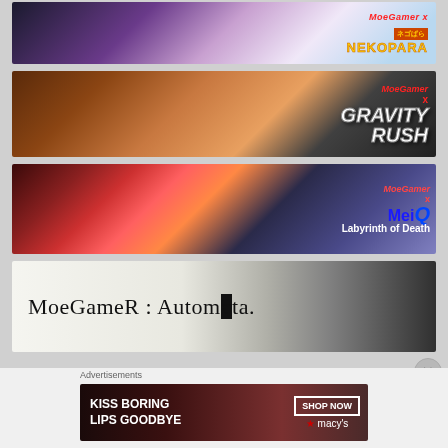[Figure (illustration): MoeGamer x NEKOPARA banner with anime cat-girl characters on pink/purple background with NEKOPARA logo]
[Figure (illustration): MoeGamer x Gravity Rush banner with anime characters on brown/dark background with GRAVITY RUSH logo]
[Figure (illustration): MoeGamer x MeiQ Labyrinth of Death banner with anime characters on red/blue background]
[Figure (illustration): MoeGameR: Automata banner with stylized text on light background with dark warrior figure]
Advertisements
[Figure (photo): Macy's advertisement: KISS BORING LIPS GOODBYE - SHOP NOW with woman's face and red lips]